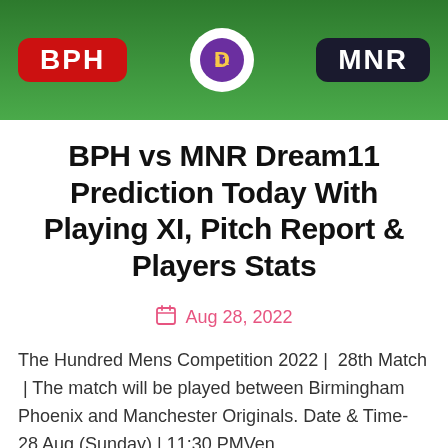[Figure (photo): Banner image showing BPH vs MNR cricket match graphic with green background, red BPH label on left, a circular Dream11 logo in center, and dark MNR label on right]
BPH vs MNR Dream11 Prediction Today With Playing XI, Pitch Report & Players Stats
Aug 28, 2022
The Hundred Mens Competition 2022 | 28th Match | The match will be played between Birmingham Phoenix and Manchester Originals. Date & Time- 28 Aug (Sunday) | 11:30 PMVen